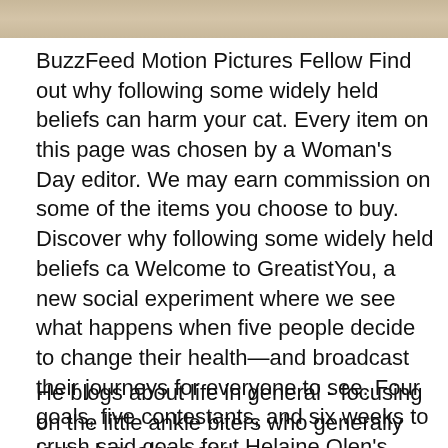[Figure (photo): Top image strip showing a wooden/natural texture background]
BuzzFeed Motion Pictures Fellow Find out why following some widely held beliefs can harm your cat. Every item on this page was chosen by a Woman's Day editor. We may earn commission on some of the items you choose to buy. Discover why following some widely held beliefs ca Welcome to GreatistYou, a new social experiment where we see what happens when five people decide to change their health—and broadcast their journeys for everyone to see. Four goals, five contestants, and six weeks to crush said goals for t Helaine Olen's Pound Foolish is worth the read. Helaine Olen's Pound Foolish is worth the read.
He blogs about life in general - focusing on the little ankle biters who generally leave him alone and